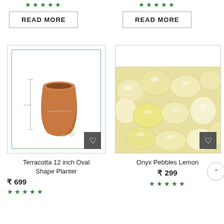★★★★★ (stars, top left)
READ MORE (button, top left)
★★★★★ (stars, top right)
READ MORE (button, top right)
[Figure (photo): Terracotta 12 inch Oval Shape Planter product image with inner green border frame, decorative leaf watermark, dimension annotation]
Terracotta 12 inch Oval Shape Planter
₹ 699
★★★★★
[Figure (photo): Onyx Pebbles Lemon product image - pale yellow/cream colored polished pebbles/stones close-up]
Onyx Pebbles Lemon
₹ 299
★★★★★